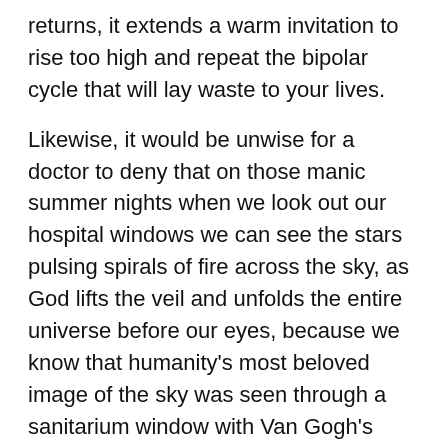feels like your bones are fighting gravity. And when spring returns, it extends a warm invitation to rise too high and repeat the bipolar cycle that will lay waste to your lives.
Likewise, it would be unwise for a doctor to deny that on those manic summer nights when we look out our hospital windows we can see the stars pulsing spirals of fire across the sky, as God lifts the veil and unfolds the entire universe before our eyes, because we know that humanity's most beloved image of the sky was seen through a sanitarium window with Van Gogh's manic eyes.
RELATED ARTICLE: 10 Signs To Identify Bipolar Disorder And How To deal With It
The reason why it would be unwise for a doctor to deny this reality is because if the doctor acknowledged that maybe it wasn't just some misfiring synapsis flashing through a crack